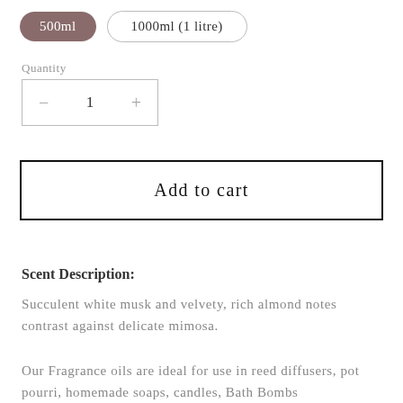500ml
1000ml (1 litre)
Quantity
− 1 +
Add to cart
Scent Description:
Succulent white musk and velvety, rich almond notes contrast against delicate mimosa.
Our Fragrance oils are ideal for use in reed diffusers, pot pourri, homemade soaps, candles, Bath Bombs